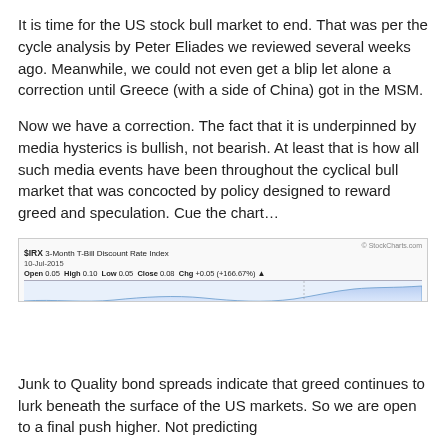It is time for the US stock bull market to end. That was per the cycle analysis by Peter Eliades we reviewed several weeks ago. Meanwhile, we could not even get a blip let alone a correction until Greece (with a side of China) got in the MSM.
Now we have a correction. The fact that it is underpinned by media hysterics is bullish, not bearish. At least that is how all such media events have been throughout the cyclical bull market that was concocted by policy designed to reward greed and speculation. Cue the chart…
[Figure (continuous-plot): $IRX 3-Month T-Bill Discount Rate Index chart from StockCharts.com, dated 10-Jul-2015. Shows Open 0.05, High 0.10, Low 0.05, Close 0.08, Chg +0.05 (+166.67%). Partial view of a financial chart with a blue shaded area representing the rate over time.]
Junk to Quality bond spreads indicate that greed continues to lurk beneath the surface of the US markets. So we are open to a final push higher. Not predicting